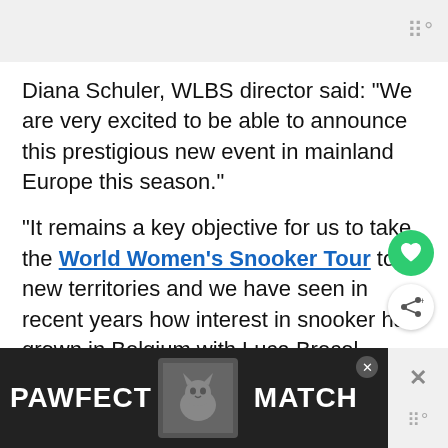Diana Schuler, WLBS director said: “We are very excited to be able to announce this prestigious new event in mainland Europe this season.”
“It remains a key objective for us to take the World Women’s Snooker Tour to new territories and we have seen in recent years how interest in snooker has grown in Belgium with Luca Brecel winning his first ranking event last season.
“De Maxx provides the perfect setting for what promises to be a very competitive tournament
[Figure (other): Advertisement banner: PAWFECT MATCH with cat image]